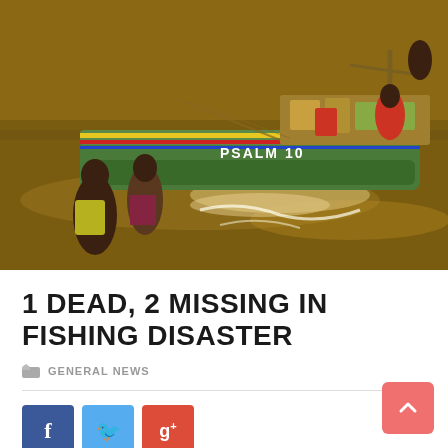[Figure (photo): People wading in muddy brown flood water next to a colorful wooden fishing boat with 'PSALM 10' written on its side. Multiple people visible on and around the boat.]
1 DEAD, 2 MISSING IN FISHING DISASTER
GENERAL NEWS
[Figure (infographic): Social sharing buttons: Facebook (blue), Twitter (light blue), Google+ (red)]